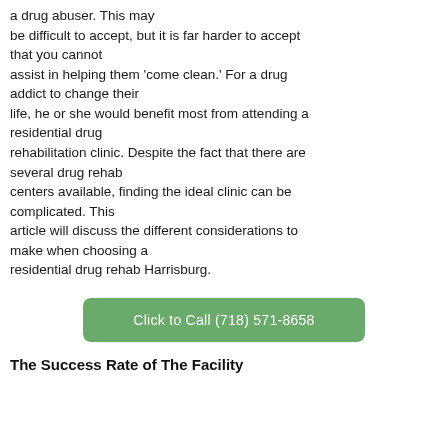a drug abuser. This may be difficult to accept, but it is far harder to accept that you cannot assist in helping them 'come clean.' For a drug addict to change their life, he or she would benefit most from attending a residential drug rehabilitation clinic. Despite the fact that there are several drug rehab centers available, finding the ideal clinic can be complicated. This article will discuss the different considerations to make when choosing a residential drug rehab Harrisburg.
[Figure (other): Green rounded rectangle button with text 'Click to Call (718) 571-8658']
The Success Rate of The Facility